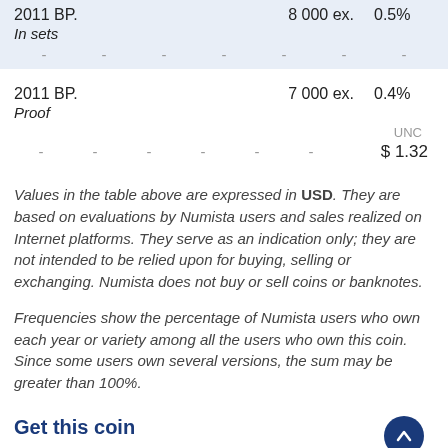| Year |  | Ex. | % | UNC |
| --- | --- | --- | --- | --- |
| 2011 BP. |  | 8 000 ex. | 0.5% |  |
| In sets |  |  |  |  |
| - | - | - | - | - | - | - |
| 2011 BP. |  | 7 000 ex. | 0.4% |  |
| Proof |  |  |  |  |
| - | - | - | - | - | - | $ 1.32 |
Values in the table above are expressed in USD. They are based on evaluations by Numista users and sales realized on Internet platforms. They serve as an indication only; they are not intended to be relied upon for buying, selling or exchanging. Numista does not buy or sell coins or banknotes.
Frequencies show the percentage of Numista users who own each year or variety among all the users who own this coin. Since some users own several versions, the sum may be greater than 100%.
Get this coin
Members from this site want to exchange it: minabalan,